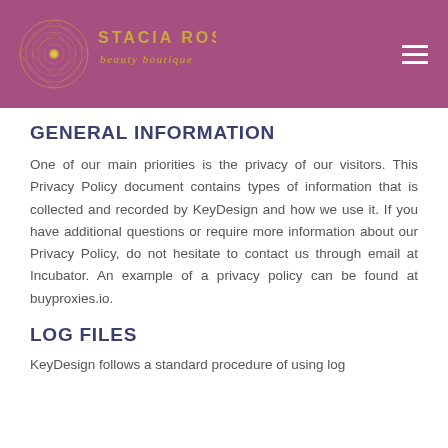[Figure (logo): Stacia Rose Beauty Boutique logo in gold/yellow on purple/mauve background, with a circular decorative mark on the left and stylized text on the right]
GENERAL INFORMATION
One of our main priorities is the privacy of our visitors. This Privacy Policy document contains types of information that is collected and recorded by KeyDesign and how we use it. If you have additional questions or require more information about our Privacy Policy, do not hesitate to contact us through email at Incubator. An example of a privacy policy can be found at buyproxies.io.
LOG FILES
KeyDesign follows a standard procedure of using log